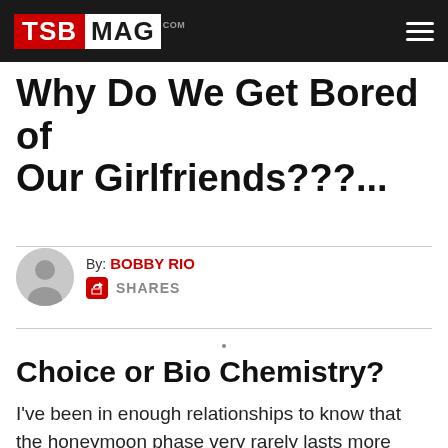TSB MAG .COM
Why Do We Get Bored of Our Girlfriends???...
By: BOBBY RIO
SHARES
Choice or Bio Chemistry?
I've been in enough relationships to know that the honeymoon phase very rarely lasts more than six months.? Not that it gets particularly bad after six months… but it just isn't ice cream and puppy